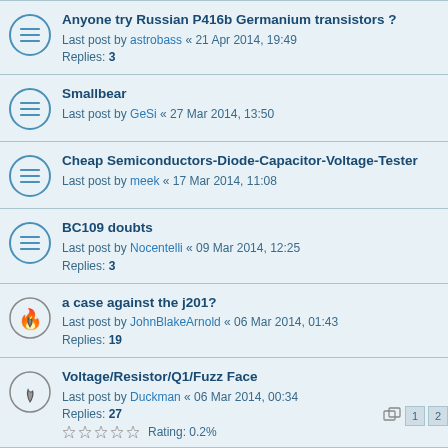Anyone try Russian P416b Germanium transistors ?
Last post by astrobass « 21 Apr 2014, 19:49
Replies: 3
Smallbear
Last post by GeSi « 27 Mar 2014, 13:50
Cheap Semiconductors-Diode-Capacitor-Voltage-Tester
Last post by meek « 17 Mar 2014, 11:08
BC109 doubts
Last post by Nocentelli « 09 Mar 2014, 12:25
Replies: 3
a case against the j201?
Last post by JohnBlakeArnold « 06 Mar 2014, 01:43
Replies: 19
Voltage/Resistor/Q1/Fuzz Face
Last post by Duckman « 06 Mar 2014, 00:34
Replies: 27
Rating: 0.2%
j201 smd vs to-92